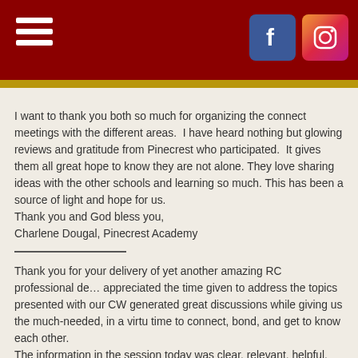Navigation header with hamburger menu and Facebook/Instagram icons
I want to thank you both so much for organizing the connect meetings with the different areas. I have heard nothing but glowing reviews and gratitude from Pinecrest who participated. It gives them all great hope to know they are not alone. They love sharing ideas with the other schools and learning so much. This has been a source of light and hope for us.
Thank you and God bless you,
Charlene Dougal, Pinecrest Academy
Thank you for your delivery of yet another amazing RC professional development. We appreciated the time given to address the topics presented with our CW staff. It generated great discussions while giving us the much-needed, in a virtual world, time to connect, bond, and get to know each other.
The information in the session today was clear, relevant, helpful, and important. I love PD sessions when I can turn around and apply my newfound knowledge immediately.
Again, thank you. Today was actually one of my top RC Education PD sessions.
Blessings,
Erin, Clear Water Academy